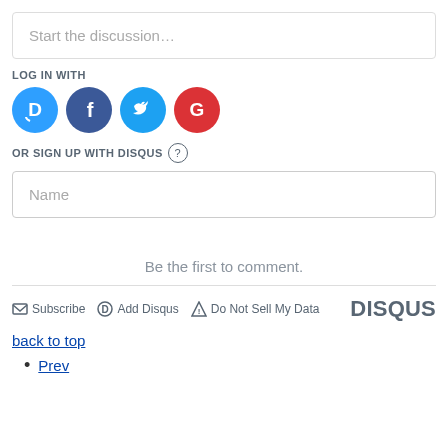Start the discussion…
LOG IN WITH
[Figure (infographic): Four social login icon circles: Disqus (D, blue), Facebook (f, dark blue), Twitter (bird, light blue), Google (G, red)]
OR SIGN UP WITH DISQUS ?
Name
Be the first to comment.
Subscribe  Add Disqus  Do Not Sell My Data  DISQUS
back to top
Prev